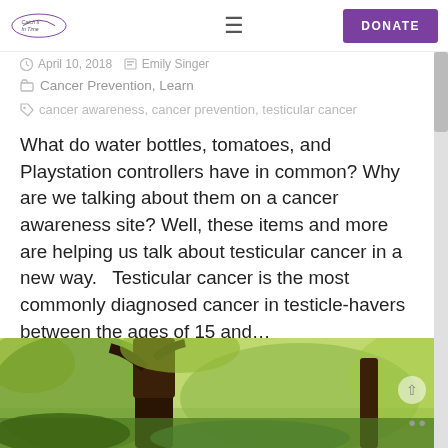Catch It In Time — DONATE
April 10, 2018 — Emily Singer
Cancer Prevention, Learn
cancer awareness, cancer prevention, testicular cancer
What do water bottles, tomatoes, and Playstation controllers have in common? Why are we talking about them on a cancer awareness site? Well, these items and more are helping us talk about testicular cancer in a new way.   Testicular cancer is the most commonly diagnosed cancer in testicle-havers between the ages of 15 and...
Read More
[Figure (photo): Outdoor nature photo showing trees and green foliage in a forest setting]